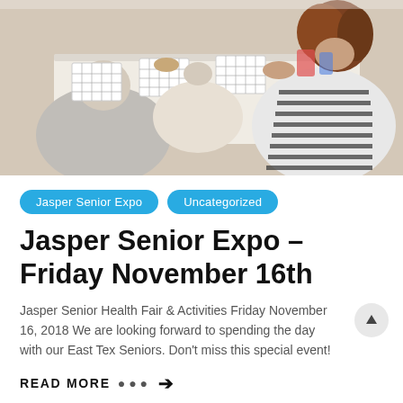[Figure (photo): Elderly people sitting around a white table playing bingo, holding markers and looking at bingo cards. A woman in a black and white striped shirt is visible on the right.]
Jasper Senior Expo  Uncategorized
Jasper Senior Expo – Friday November 16th
Jasper Senior Health Fair & Activities Friday November 16, 2018 We are looking forward to spending the day with our East Tex Seniors. Don't miss this special event!
READ MORE ●●●➔
By Daryl Fant  Comments are off